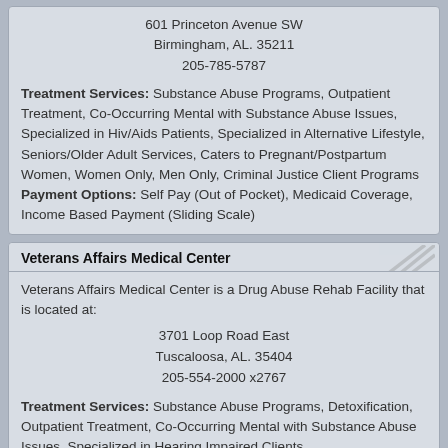601 Princeton Avenue SW
Birmingham, AL. 35211
205-785-5787
Treatment Services: Substance Abuse Programs, Outpatient Treatment, Co-Occurring Mental with Substance Abuse Issues, Specialized in Hiv/Aids Patients, Specialized in Alternative Lifestyle, Seniors/Older Adult Services, Caters to Pregnant/Postpartum Women, Women Only, Men Only, Criminal Justice Client Programs
Payment Options: Self Pay (Out of Pocket), Medicaid Coverage, Income Based Payment (Sliding Scale)
Veterans Affairs Medical Center
Veterans Affairs Medical Center is a Drug Abuse Rehab Facility that is located at:
3701 Loop Road East
Tuscaloosa, AL. 35404
205-554-2000 x2767
Treatment Services: Substance Abuse Programs, Detoxification, Outpatient Treatment, Co-Occurring Mental with Substance Abuse Issues, Specialized in Hearing Impaired Clients
Payment Options: Medicaid Coverage, Medicare Coverage, Private or Personal Health Insurance, Accepts Military Insurance (E.G., Va, Tricare)